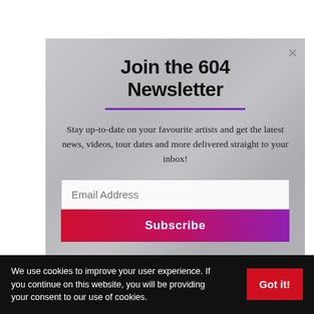[Figure (photo): Concert/music event background photo in grayscale showing lights and crowd, used as modal background]
Join the 604 Newsletter
Stay up-to-date on your favourite artists and get the latest news, videos, tour dates and more delivered straight to your inbox!
Email Address
Subscribe
We use cookies to improve your user experience. If you continue on this website, you will be providing your consent to our use of cookies.
Got it!